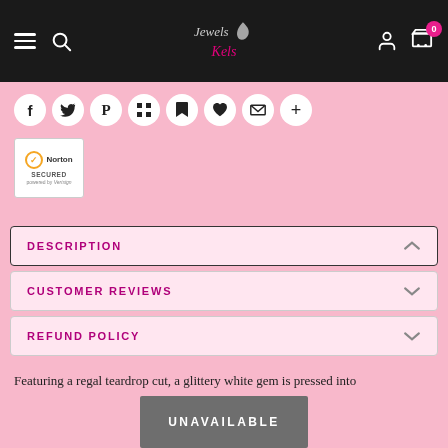Jewels Kels — navigation header with hamburger menu, search, logo, account, and cart (0 items)
[Figure (infographic): Row of social sharing icons: Facebook, Twitter, Pinterest, Grid/Apps, Bookmark, Heart, Email, Plus]
[Figure (logo): Norton Secured powered by Verisign badge — white box with checkmark and Norton branding]
DESCRIPTION
CUSTOMER REVIEWS
REFUND POLICY
Featuring a regal teardrop cut, a glittery white gem is pressed into
UNAVAILABLE